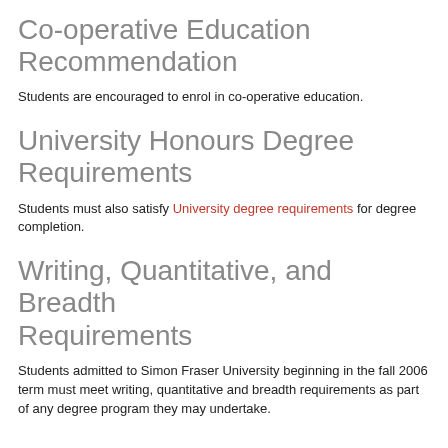Co-operative Education Recommendation
Students are encouraged to enrol in co-operative education.
University Honours Degree Requirements
Students must also satisfy University degree requirements for degree completion.
Writing, Quantitative, and Breadth Requirements
Students admitted to Simon Fraser University beginning in the fall 2006 term must meet writing, quantitative and breadth requirements as part of any degree program they may undertake.